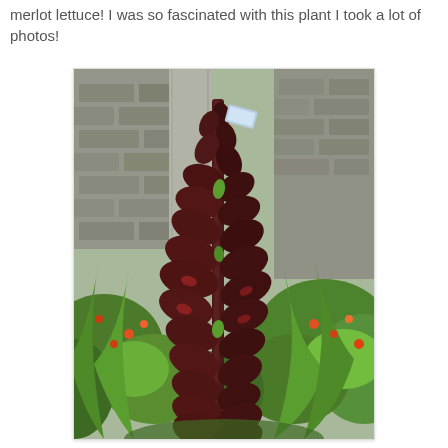merlot lettuce! I was so fascinated with this plant I took a lot of photos!
[Figure (photo): A tall, dark reddish-purple merlot lettuce plant that has bolted, forming a tall spire-like column, surrounded by green leaves and colorful garden plants, with a stone wall and concrete pillar in the background.]